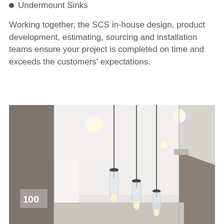Undermount Sinks
Working together, the SCS in-house design, product development, estimating, sourcing and installation teams ensure your project is completed on time and exceeds the customers' expectations.
[Figure (photo): Interior photo showing pendant lighting fixtures with glass shades hanging from a white ceiling in a commercial space. The room has taupe/grey walls, recessed can lights, and a number '100' sign visible on the left wall.]